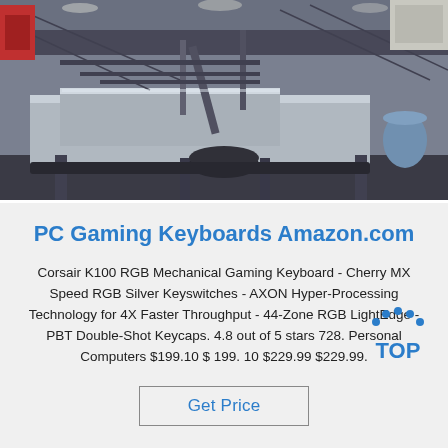[Figure (photo): Industrial factory floor with metal conveyor/processing equipment, metal sheets, and machinery in a warehouse setting]
PC Gaming Keyboards Amazon.com
Corsair K100 RGB Mechanical Gaming Keyboard - Cherry MX Speed RGB Silver Keyswitches - AXON Hyper-Processing Technology for 4X Faster Throughput - 44-Zone RGB LightEdge - PBT Double-Shot Keycaps. 4.8 out of 5 stars 728. Personal Computers $199.10 $ 199. 10 $229.99 $229.99.
[Figure (logo): TOP badge logo with blue dots forming an arc above the word TOP in bold blue letters]
Get Price